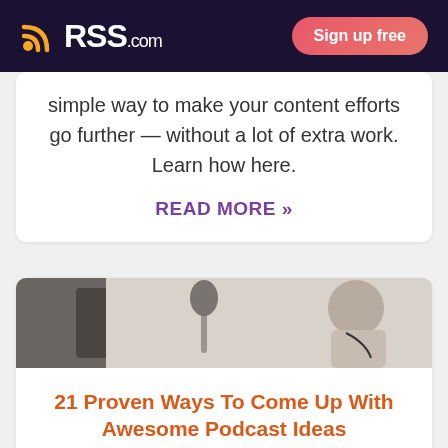RSS.com | Sign up free
simple way to make your content efforts go further — without a lot of extra work. Learn how here.
READ MORE »
[Figure (photo): Person in profile view wearing headphones near a microphone, podcast recording setting]
21 Proven Ways To Come Up With Awesome Podcast Ideas
Every podcaster has had a moment of...